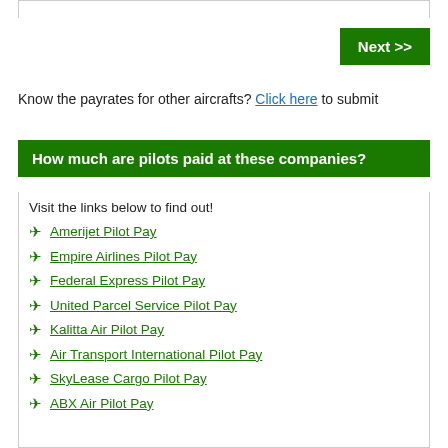Next >>
Know the payrates for other aircrafts? Click here to submit
How much are pilots paid at these companies?
Visit the links below to find out!
Amerijet Pilot Pay
Empire Airlines Pilot Pay
Federal Express Pilot Pay
United Parcel Service Pilot Pay
Kalitta Air Pilot Pay
Air Transport International Pilot Pay
SkyLease Cargo Pilot Pay
ABX Air Pilot Pay